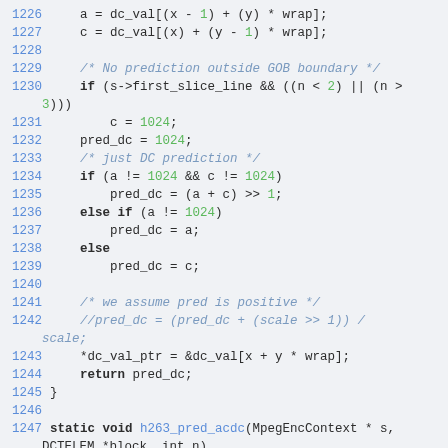Source code listing, lines 1226-1247, C code for h263 DC prediction logic